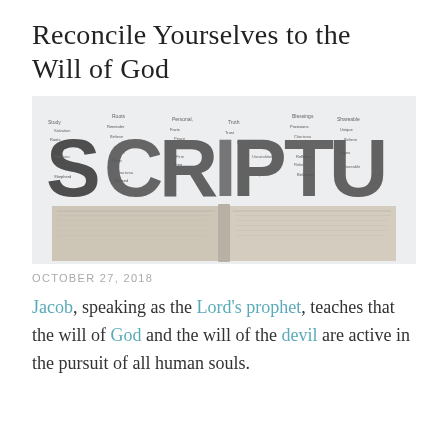Reconcile Yourselves to the Will of God
[Figure (photo): Word cloud forming the word SCRIPTURES in large bold letters made up of many smaller religious/scriptural words, with an open Bible beneath it on a light background.]
OCTOBER 27, 2018
Jacob, speaking as the Lord's prophet, teaches that the will of God and the will of the devil are active in the pursuit of all human souls.